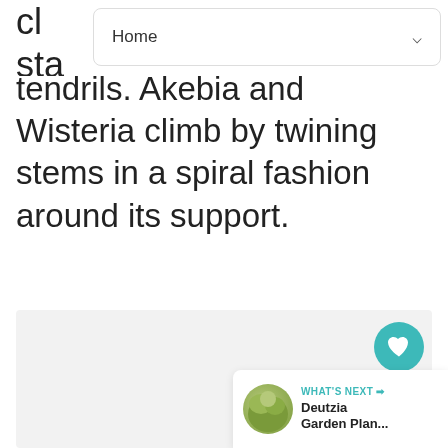Home
cl... sta... tendrils. Akebia and Wisteria climb by twining stems in a spiral fashion around its support.
[Figure (photo): Light grey placeholder image area for a plant/garden photograph]
1
WHAT'S NEXT → Deutzia Garden Plan...